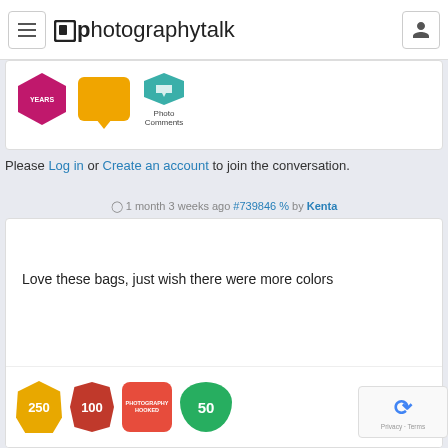photographytalk
[Figure (illustration): Partial view of user badges: years badge (pink hexagon), speech bubble badge (gold), and Photo Comments badge (teal bird icon with label)]
Please Log in or Create an account to join the conversation.
1 month 3 weeks ago #739846 % by Kenta
Love these bags, just wish there were more colors
[Figure (illustration): Row of user achievement badges: gold 250 heptagon, red 100 star, red Photography Hooked square, green 50 speech bubble]